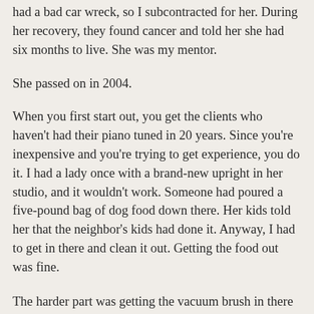had a bad car wreck, so I subcontracted for her. During her recovery, they found cancer and told her she had six months to live. She was my mentor.
She passed on in 2004.
When you first start out, you get the clients who haven't had their piano tuned in 20 years. Since you're inexpensive and you're trying to get experience, you do it. I had a lady once with a brand-new upright in her studio, and it wouldn't work. Someone had poured a five-pound bag of dog food down there. Her kids told her that the neighbor's kids had done it. Anyway, I had to get in there and clean it out. Getting the food out was fine.
The harder part was getting the vacuum brush in there to get all the dust out.